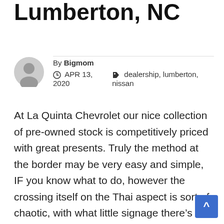Lumberton, NC
By Bigmom
APR 13, 2020   dealership, lumberton, nissan
At La Quinta Chevrolet our nice collection of pre-owned stock is competitively priced with great presents. Truly the method at the border may be very easy and simple, IF you know what to do, however the crossing itself on the Thai aspect is sort of chaotic, with what little signage there’s not being very clear, to such an extent that it will be very simple to drive through with out either having checked in at Immigration